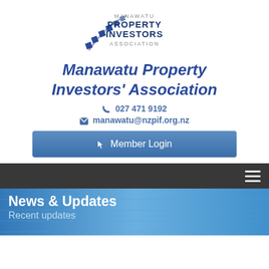[Figure (logo): Manawatu Property Investors Association logo with stylized staircase/house icon in blue and grey, with text MANAWATU PROPERTY INVESTORS ASSOCIATION]
Manawatu Property Investors' Association
027 471 9192
manawatu@nzpif.org.nz
Member Login
News & Updates
Recent updates